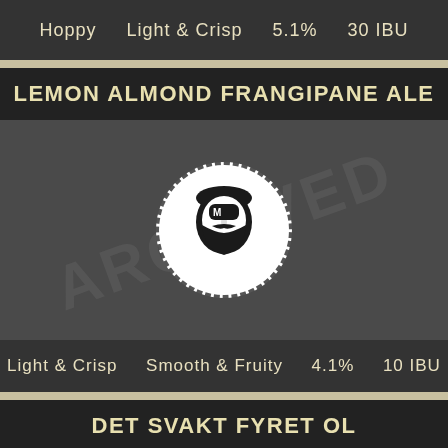Hoppy   Light & Crisp   5.1%   30 IBU
LEMON ALMOND FRANGIPANE ALE
[Figure (logo): Circular brewery logo with bearded man face illustration and the letter M, overlaid with an ARCHIVED watermark text across the dark grey background]
Light & Crisp   Smooth & Fruity   4.1%   10 IBU
DET SVAKT FYRET OL